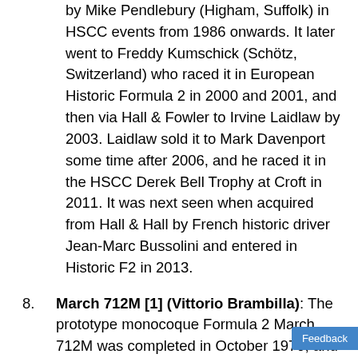by Mike Pendlebury (Higham, Suffolk) in HSCC events from 1986 onwards. It later went to Freddy Kumschick (Schötz, Switzerland) who raced it in European Historic Formula 2 in 2000 and 2001, and then via Hall & Fowler to Irvine Laidlaw by 2003. Laidlaw sold it to Mark Davenport some time after 2006, and he raced it in the HSCC Derek Bell Trophy at Croft in 2011. It was next seen when acquired from Hall & Hall by French historic driver Jean-Marc Bussolini and entered in Historic F2 in 2013.
March 712M [1] (Vittorio Brambilla): The prototype monocoque Formula 2 March 712M was completed in October 1970, and was extensively tested at Silverstone in the hands of Ronnie Peterson, Howden Ganley, Carlos Pace, Mike Beuttler, Colin Vandervell and others. It was...